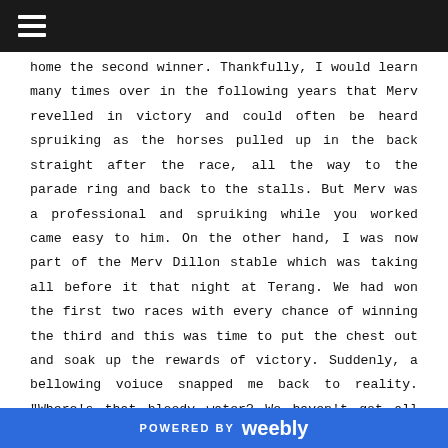☰
home the second winner. Thankfully, I would learn many times over in the following years that Merv revelled in victory and could often be heard spruiking as the horses pulled up in the back straight after the race, all the way to the parade ring and back to the stalls. But Merv was a professional and spruiking while you worked came easy to him. On the other hand, I was now part of the Merv Dillon stable which was taking all before it that night at Terang. We had won the first two races with every chance of winning the third and this was time to put the chest out and soak up the rewards of victory. Suddenly, a bellowing voiuce snapped me back to reality. "Where's that bloody water? We haven't got all night!" The fact that I moved at only one speed – very slow – became a great source of amusement
POWERED BY weebly